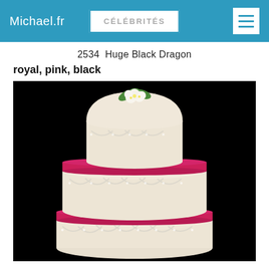Michael.fr | CÉLÉBRITÉS
2534  Huge Black Dragon
royal, pink, black
[Figure (photo): Multi-tiered white wedding cake with pink/red ribbon bands between tiers and white floral decoration on top, photographed against a black background.]